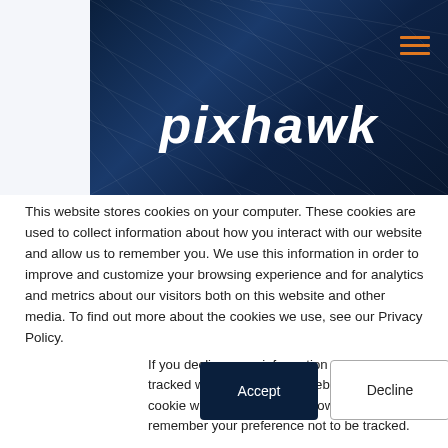[Figure (logo): Pixhawk logo on dark navy blue banner background with diagonal line texture pattern and orange hamburger menu icon in top right]
This website stores cookies on your computer. These cookies are used to collect information about how you interact with our website and allow us to remember you. We use this information in order to improve and customize your browsing experience and for analytics and metrics about our visitors both on this website and other media. To find out more about the cookies we use, see our Privacy Policy.
If you decline, your information won't be tracked when you visit this website. A single cookie will be used in your browser to remember your preference not to be tracked.